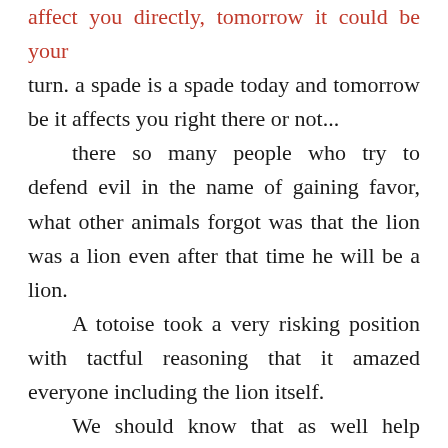affect you directly, tomorrow it could be your turn. a spade is a spade today and tomorrow be it affects you right there or not... there so many people who try to defend evil in the name of gaining favor, what other animals forgot was that the lion was a lion even after that time he will be a lion. A totoise took a very risking position with tactful reasoning that it amazed everyone including the lion itself. We should know that as well help others sometimes it will turn against us but that should not be the reason we should stop